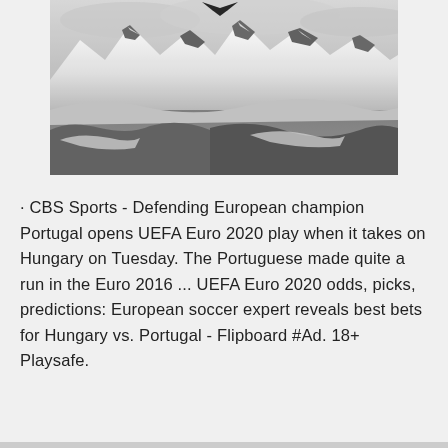[Figure (photo): Black and white photograph of snow-capped mountain peaks with a bird (eagle/crow) silhouetted in flight near the top center. Misty clouds surround the rocky peaks.]
· CBS Sports - Defending European champion Portugal opens UEFA Euro 2020 play when it takes on Hungary on Tuesday. The Portuguese made quite a run in the Euro 2016 ... UEFA Euro 2020 odds, picks, predictions: European soccer expert reveals best bets for Hungary vs. Portugal - Flipboard #Ad. 18+ Playsafe.